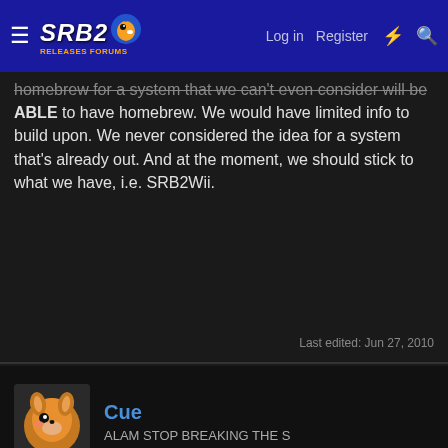SRB2 | Log in | Register
homebrew for a system that we can't even consider will be ABLE to have homebrew. We would have limited info to build upon. We never considered the idea for a system that's already out. And at the moment, we should stick to what we have, i.e. SRB2Wii.
Last edited: Jun 27, 2010
Cue
ALAM STOP BREAKING THE S
Jun 27, 2010
#11
DarkSagaFromSegaLMA0 said:
Haven't replied to anything in a while... I guess I'll start with this.

So you go out of the way to explain that the 3DS is stronger, Sky? Well.. I guess his logic works. From looking up the 3DS, Wikipedia states the following specs.